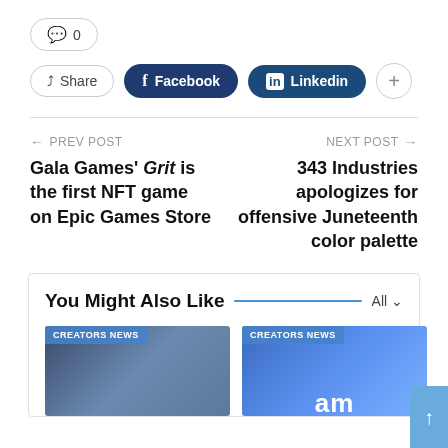💬 0
Share  Facebook  Linkedin  +
← PREV POST
Gala Games' Grit is the first NFT game on Epic Games Store
NEXT POST →
343 Industries apologizes for offensive Juneteenth color palette
You Might Also Like
CREATORS NEWS
CREATORS NEWS